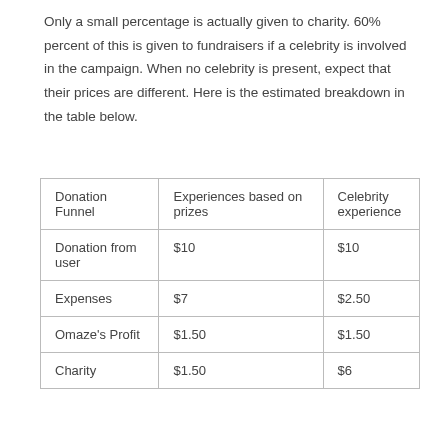Only a small percentage is actually given to charity. 60% percent of this is given to fundraisers if a celebrity is involved in the campaign. When no celebrity is present, expect that their prices are different. Here is the estimated breakdown in the table below.
| Donation Funnel | Experiences based on prizes | Celebrity experience |
| --- | --- | --- |
| Donation from user | $10 | $10 |
| Expenses | $7 | $2.50 |
| Omaze's Profit | $1.50 | $1.50 |
| Charity | $1.50 | $6 |